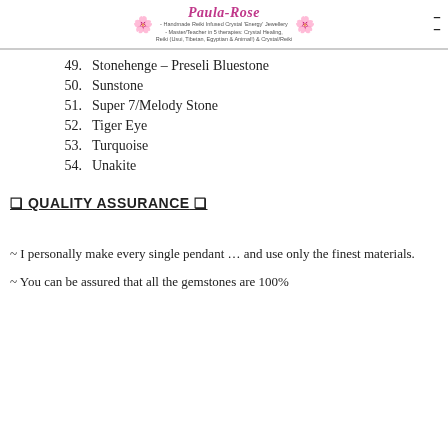Paula-Rose - Handmade Reiki Infused Crystal 'Energy' Jewellery - Master/Teacher in 5 therapies: Crystal Healing, Reiki (Usui, Tibetan, Egyptian & Animal!) & Crystal/Reiki
49. Stonehenge – Preseli Bluestone
50. Sunstone
51. Super 7/Melody Stone
52. Tiger Eye
53. Turquoise
54. Unakite
✿ QUALITY ASSURANCE ✿
~ I personally make every single pendant … and use only the finest materials.
~ You can be assured that all the gemstones are 100%